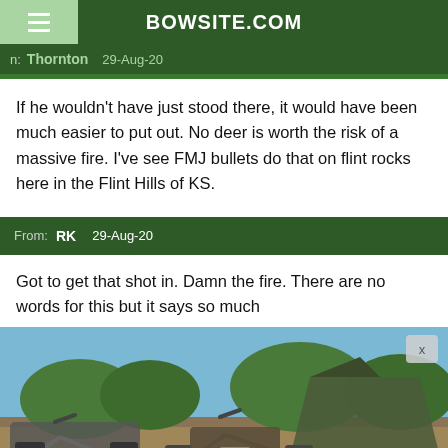BOWSITE.COM
From: Thornton 29-Aug-20
If he wouldn't have just stood there, it would have been much easier to put out. No deer is worth the risk of a massive fire. I've see FMJ bullets do that on flint rocks here in the Flint Hills of KS.
From: RK 29-Aug-20
Got to get that shot in. Damn the fire. There are no words for this but it says so much
[Figure (photo): Advertisement photo showing hunting/outdoor e-bikes with gear and panniers parked near a camouflage tent in an outdoor setting]